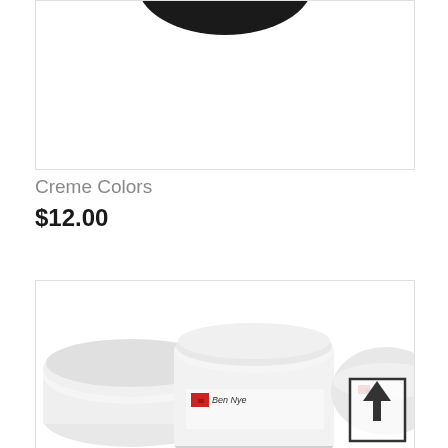[Figure (photo): Partial view of a black circular lid/cap of a product container, cropped at top]
Creme Colors
$12.00
[Figure (photo): Ben Nye brand white cream makeup containers/jars shown from a slight angle, partially cropped, with an upload/share arrow button overlay in the bottom right corner]